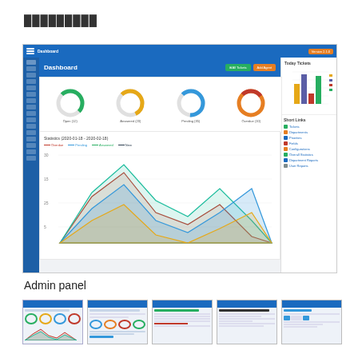█████████
[Figure (screenshot): Admin panel dashboard screenshot showing donut charts for ticket statistics (Open 12, Answered 20, Pending 35, Overdue 10), a Statistics area chart (2020-01-18 to 2020-02-18) with four series (Overdue, Pending, Answered, New), a Today Tickets bar chart, and a Short Links panel on the right with links to Tickets, Departments, Priorities, Fields, Configurations, Overall Statistics, Department Reports, User Reports]
Admin panel
[Figure (screenshot): Thumbnail 1: Dashboard with donut charts and area chart]
[Figure (screenshot): Thumbnail 2: Tickets list view with table]
[Figure (screenshot): Thumbnail 3: Ticket detail/form view]
[Figure (screenshot): Thumbnail 4: Department or settings view]
[Figure (screenshot): Thumbnail 5: Report or table view]